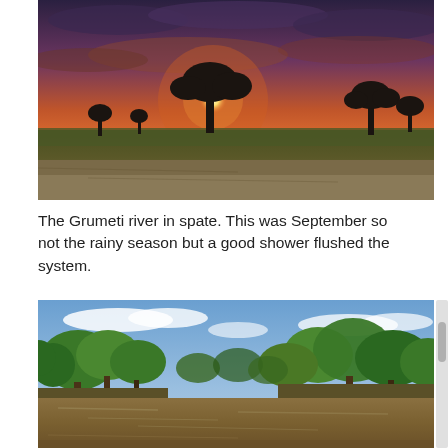[Figure (photo): A dramatic African savanna sunset with silhouetted acacia trees against an orange and red sky with clouds. The foreground shows dry, sandy ground.]
The Grumeti river in spate. This was September so not the rainy season but a good shower flushed the system.
[Figure (photo): A wide, muddy river (the Grumeti river in spate) with lush green trees and vegetation along both banks under a blue sky with light clouds.]